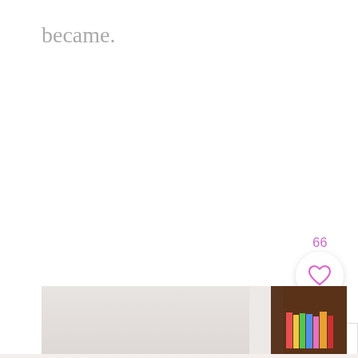became.
[Figure (screenshot): UI screenshot showing a like button with count '66' above it (pink heart icon on white circle), a pink search/magnify button below, an X close button, and a blurred photo strip of a bookshelf with colorful books at the bottom of the page.]